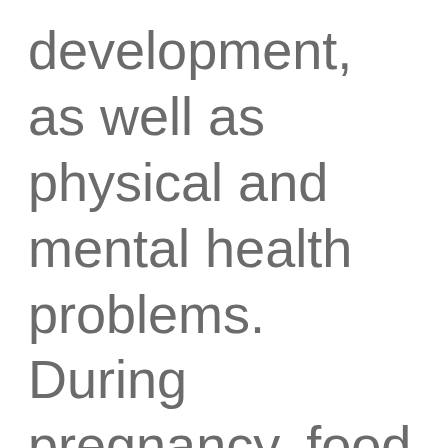development, as well as physical and mental health problems. During pregnancy, food insecurity has been connected to low